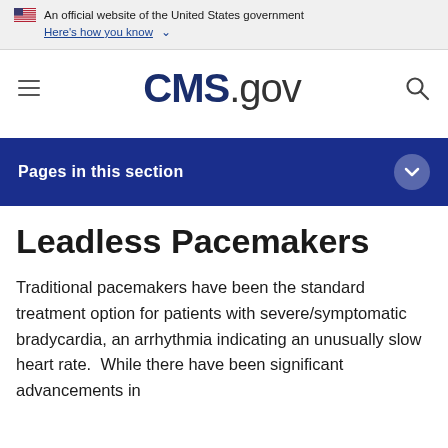An official website of the United States government
Here's how you know ∨
[Figure (logo): CMS.gov website logo with hamburger menu and search icon]
Pages in this section
Leadless Pacemakers
Traditional pacemakers have been the standard treatment option for patients with severe/symptomatic bradycardia, an arrhythmia indicating an unusually slow heart rate.  While there have been significant advancements in